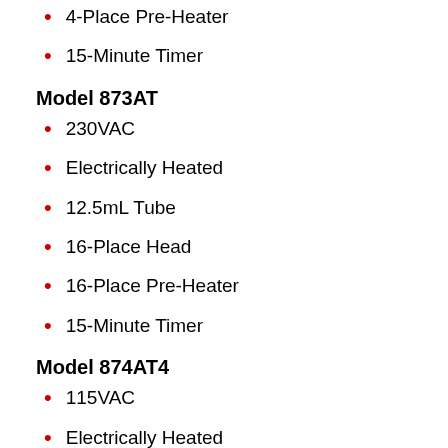4-Place Pre-Heater
15-Minute Timer
Model 873AT
230VAC
Electrically Heated
12.5mL Tube
16-Place Head
16-Place Pre-Heater
15-Minute Timer
Model 874AT4
115VAC
Electrically Heated